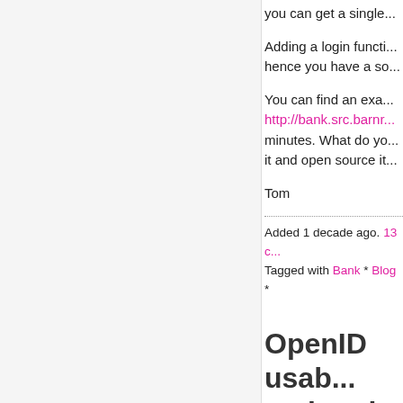you can get a single...
Adding a login functi... hence you have a so...
You can find an exa... http://bank.src.barnr... minutes. What do yo... it and open source it...
Tom
Added 1 decade ago. 13 c... Tagged with Bank * Blog *
OpenID usab... authenticatio...
In this article I contin... usability tests along... software developme... implementation...